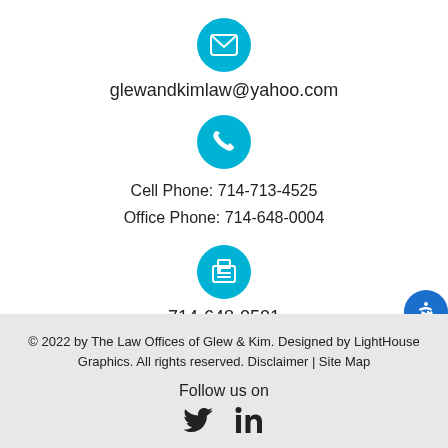[Figure (illustration): Teal circle icon with white envelope/email symbol]
glewandkimlaw@yahoo.com
[Figure (illustration): Teal circle icon with white phone/call symbol]
Cell Phone: 714-713-4525
Office Phone: 714-648-0004
[Figure (illustration): Teal circle icon with white fax machine symbol]
714-648-0501
© 2022 by The Law Offices of Glew & Kim. Designed by LightHouse Graphics. All rights reserved. Disclaimer | Site Map

Follow us on
[Figure (illustration): Twitter and LinkedIn social media icons]